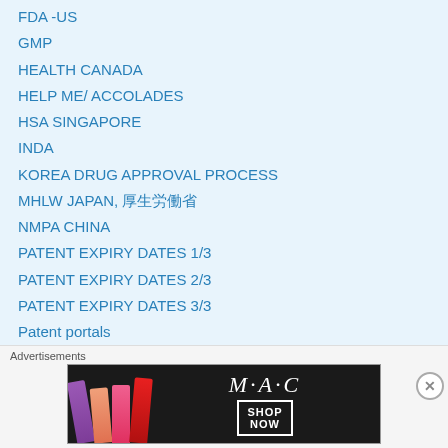FDA -US
GMP
HEALTH CANADA
HELP ME/ ACCOLADES
HSA SINGAPORE
INDA
KOREA DRUG APPROVAL PROCESS
MHLW JAPAN, 厚生労働省
NMPA CHINA
PATENT EXPIRY DATES 1/3
PATENT EXPIRY DATES 2/3
PATENT EXPIRY DATES 3/3
Patent portals
Polymorphism
Regulations and Guidance
Scientificupdate (UK) on a roll
[Figure (advertisement): MAC Cosmetics advertisement banner showing lipsticks and SHOP NOW button]